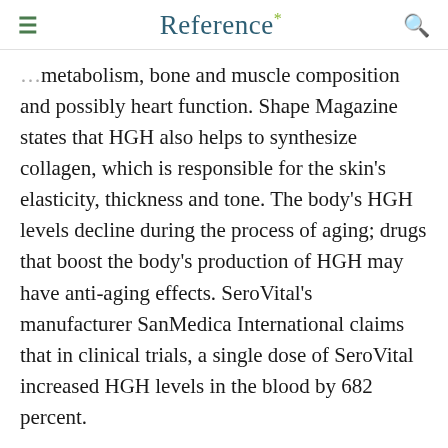Reference*
metabolism, bone and muscle composition and possibly heart function. Shape Magazine states that HGH also helps to synthesize collagen, which is responsible for the skin's elasticity, thickness and tone. The body's HGH levels decline during the process of aging; drugs that boost the body's production of HGH may have anti-aging effects. SeroVital's manufacturer SanMedica International claims that in clinical trials, a single dose of SeroVital increased HGH levels in the blood by 682 percent.
According to SanMedica International, these increased HGH levels are associated with sl...